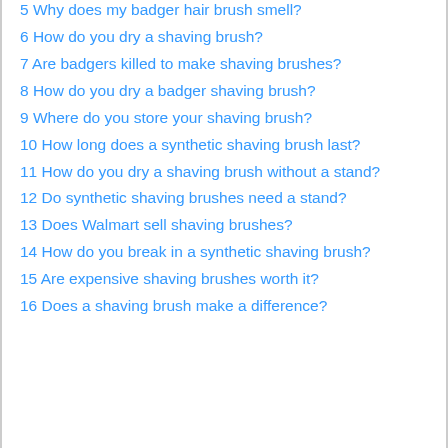6 How do you dry a shaving brush?
7 Are badgers killed to make shaving brushes?
8 How do you dry a badger shaving brush?
9 Where do you store your shaving brush?
10 How long does a synthetic shaving brush last?
11 How do you dry a shaving brush without a stand?
12 Do synthetic shaving brushes need a stand?
13 Does Walmart sell shaving brushes?
14 How do you break in a synthetic shaving brush?
15 Are expensive shaving brushes worth it?
16 Does a shaving brush make a difference?